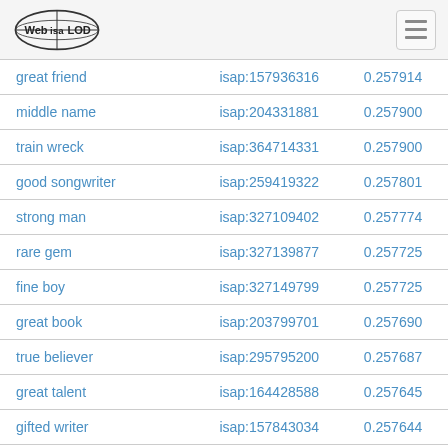Web isa LOD
| great friend | isap:157936316 | 0.257914 |
| middle name | isap:204331881 | 0.257900 |
| train wreck | isap:364714331 | 0.257900 |
| good songwriter | isap:259419322 | 0.257801 |
| strong man | isap:327109402 | 0.257774 |
| rare gem | isap:327139877 | 0.257725 |
| fine boy | isap:327149799 | 0.257725 |
| great book | isap:203799701 | 0.257690 |
| true believer | isap:295795200 | 0.257687 |
| great talent | isap:164428588 | 0.257645 |
| gifted writer | isap:157843034 | 0.257644 |